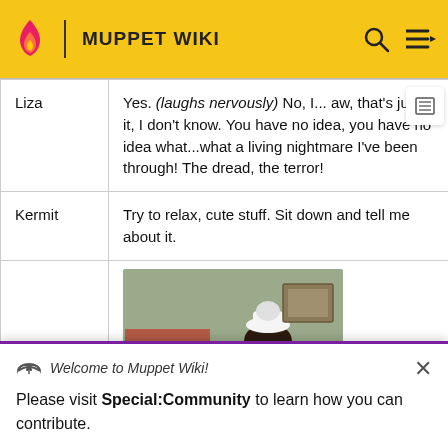MUPPET WIKI
| Speaker | Dialog |
| --- | --- |
| Liza | Yes. (laughs nervously) No, I... aw, that's just it, I don't know. You have no idea, you have no idea what...what a living nightmare I've been through! The dread, the terror! |
| Kermit | Try to relax, cute stuff. Sit down and tell me about it. |
|  | [image of Liza Minnelli in costume] |
[Figure (photo): Liza Minnelli in a white hat and white outfit, with a mirrored sign behind her reading KERMIT THE FROG]
Welcome to Muppet Wiki!
Please visit Special:Community to learn how you can contribute.